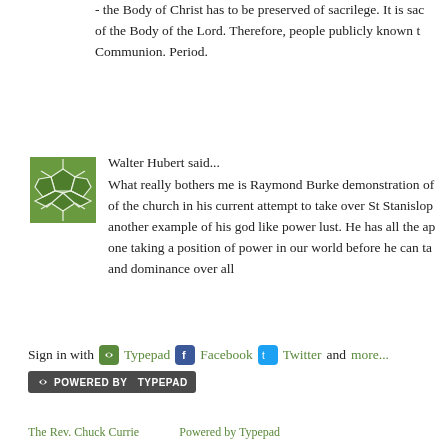- the Body of Christ has to be preserved of sacrilege. It is sac of the Body of the Lord. Therefore, people publicly known t Communion. Period.
[Figure (illustration): Green avatar icon with soccer ball / hexagonal pattern in white lines on green background]
Walter Hubert said...
What really bothers me is Raymond Burke demonstration of of the church in his current attempt to take over St Stanislop another example of his god like power lust. He has all the ap one taking a position of power in our world before he can ta and dominance over all
Sign in with Typepad Facebook Twitter and more...
[Figure (logo): Powered by TypePad button/badge in dark grey]
The Rev. Chuck Currie    Powered by Typepad